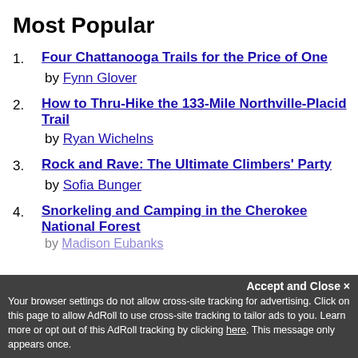Most Popular
1. Four Chattanooga Trails for the Price of One
by Fynn Glover
2. How to Thru-Hike the 133-Mile Northville-Placid Trail
by Ryan Wichelns
3. Rock and Rave: The Ultimate Climbers' Party
by Sofia Bunger
4. Snorkeling and Camping in the Cherokee National Forest
by Madison Eubanks
Accept and Close ✕
Your browser settings do not allow cross-site tracking for advertising. Click on this page to allow AdRoll to use cross-site tracking to tailor ads to you. Learn more or opt out of this AdRoll tracking by clicking here. This message only appears once.